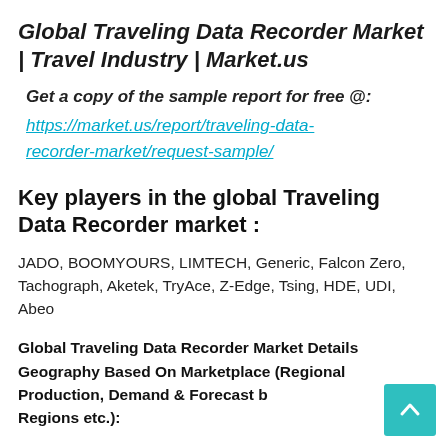Global Traveling Data Recorder Market | Travel Industry | Market.us
Get a copy of the sample report for free @:
https://market.us/report/traveling-data-recorder-market/request-sample/
Key players in the global Traveling Data Recorder market :
JADO, BOOMYOURS, LIMTECH, Generic, Falcon Zero, Tachograph, Aketek, TryAce, Z-Edge, Tsing, HDE, UDI, Abeo
Global Traveling Data Recorder Market Details Geography Based On Marketplace (Regional Production, Demand & Forecast by Regions etc.):